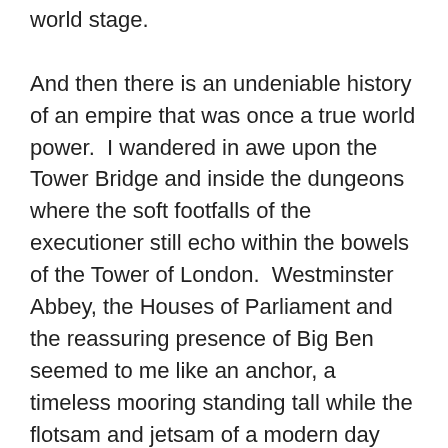world stage.

And then there is an undeniable history of an empire that was once a true world power.  I wandered in awe upon the Tower Bridge and inside the dungeons where the soft footfalls of the executioner still echo within the bowels of the Tower of London.  Westminster Abbey, the Houses of Parliament and the reassuring presence of Big Ben seemed to me like an anchor, a timeless mooring standing tall while the flotsam and jetsam of a modern day consumerist society whirls and eddies against its foundation.  Occasionally life shines forth like the proverbial candle in the wind:  Pakistani children stripping off to bathe and splash into the cooling embrace of the fountains on Trafalgar Square; stolen kisses between a couple so in love that they have become oblivious to those around them;